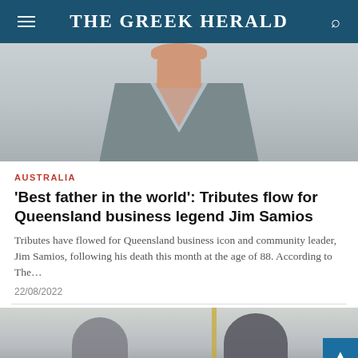THE GREEK HERALD
[Figure (photo): Partial photo of a man wearing a gray sweater vest over a patterned collared shirt, cropped to show shoulders and chest]
AUSTRALIA
'Best father in the world': Tributes flow for Queensland business legend Jim Samios
Tributes have flowed for Queensland business icon and community leader, Jim Samios, following his death this month at the age of 88. According to The...
22/08/2022
[Figure (photo): Partial photo showing two men in formal attire, partially cropped at bottom of page]